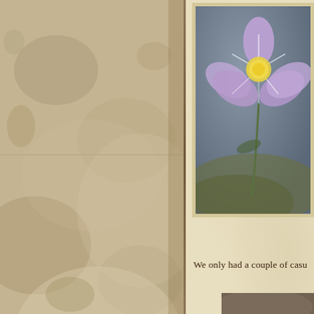[Figure (illustration): Left half of a two-page spread showing aged/worn parchment texture background in tan and brown tones with visible staining and fold marks.]
[Figure (photo): Painting or illustration of a purple flower with yellow center on a dark grey-blue background with green stem, framed with a cream border. Only the top portion is visible.]
We only had a couple of casu
[Figure (photo): Partial view of a second photograph at the bottom right, showing brown/tan tones, mostly cut off.]